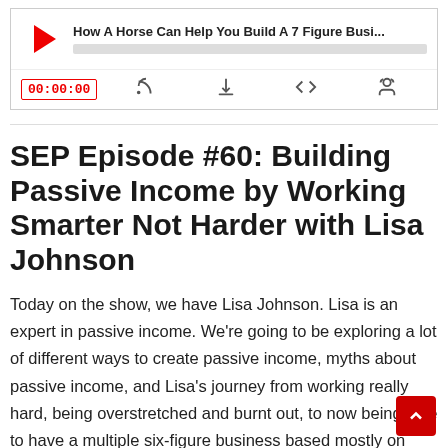[Figure (screenshot): Podcast audio player widget with red play button, episode title 'How A Horse Can Help You Build A 7 Figure Busi...', progress bar, time display '00:00:00', and media control icons (subscribe, download, embed, share)]
SEP Episode #60: Building Passive Income by Working Smarter Not Harder with Lisa Johnson
Today on the show, we have Lisa Johnson. Lisa is an expert in passive income. We're going to be exploring a lot of different ways to create passive income, myths about passive income, and Lisa's journey from working really hard, being overstretched and burnt out, to now being able to have a multiple six-figure business based mostly on passive income.